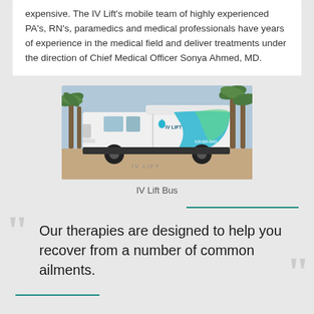expensive. The IV Lift's mobile team of highly experienced PA's, RN's, paramedics and medical professionals have years of experience in the medical field and deliver treatments under the direction of Chief Medical Officer Sonya Ahmed, MD.
[Figure (photo): Photo of IV Lift branded white van/bus with teal and green wave graphics parked on a driveway with palm trees in background]
IV Lift Bus
Our therapies are designed to help you recover from a number of common ailments.